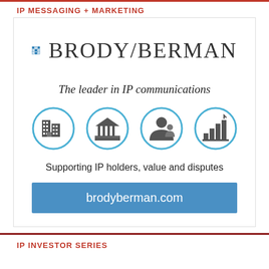IP MESSAGING + MARKETING
[Figure (logo): Brody/Berman logo with grid icon and brand name]
The leader in IP communications
[Figure (illustration): Four circular icons: building/corporate, institution/government, person/client, bar chart/analytics]
Supporting IP holders, value and disputes
brodyberman.com
IP INVESTOR SERIES